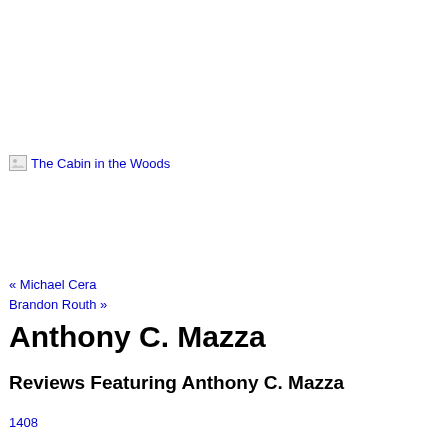[Figure (other): Broken image link labeled 'The Cabin in the Woods']
« Michael Cera
Brandon Routh »
Anthony C. Mazza
Reviews Featuring Anthony C. Mazza
1408